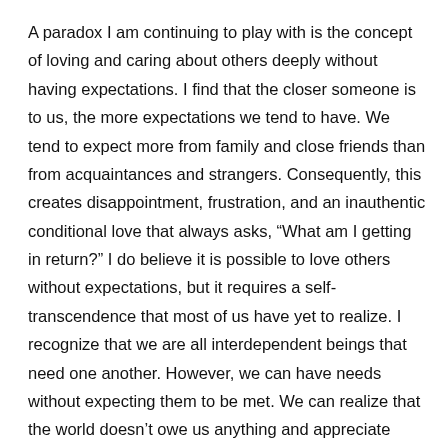A paradox I am continuing to play with is the concept of loving and caring about others deeply without having expectations. I find that the closer someone is to us, the more expectations we tend to have. We tend to expect more from family and close friends than from acquaintances and strangers. Consequently, this creates disappointment, frustration, and an inauthentic conditional love that always asks, “What am I getting in return?” I do believe it is possible to love others without expectations, but it requires a self-transcendence that most of us have yet to realize. I recognize that we are all interdependent beings that need one another. However, we can have needs without expecting them to be met. We can realize that the world doesn’t owe us anything and appreciate everything we receive – especially the things that seem guaranteed, like the next breath of air.
Another paradox I am continuing to play with is...